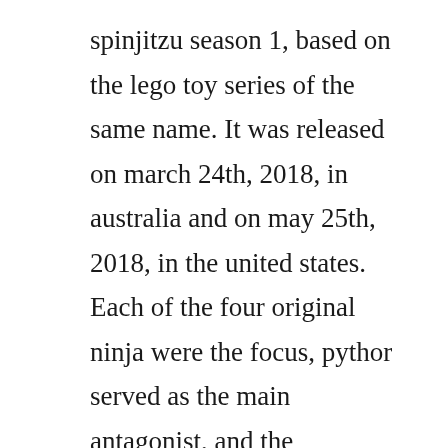spinjitzu season 1, based on the lego toy series of the same name. It was released on march 24th, 2018, in australia and on may 25th, 2018, in the united states. Each of the four original ninja were the focus, pythor served as the main antagonist, and the serpentine were the villainous faction of the season. Apart from sensei wus brother lord garmadon, they have to deal with annoying little lloyd garmadon and the serpentine snake people. Season 1 focused on the four original ninja as they try to find out who will be the green ninja. It was originally scheduled to be